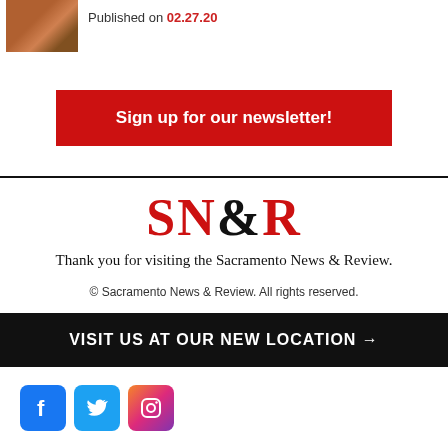[Figure (photo): Small thumbnail photo of a kitchen or restaurant interior with warm orange/brown tones]
Published on 02.27.20
Sign up for our newsletter!
[Figure (logo): SN&R logo in red and black serif font]
Thank you for visiting the Sacramento News & Review.
© Sacramento News & Review. All rights reserved.
VISIT US AT OUR NEW LOCATION →
[Figure (other): Social media icons for Facebook, Twitter, and Instagram]